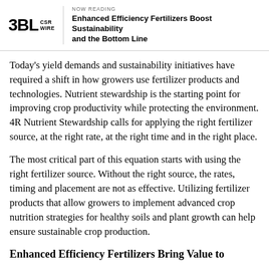3BL CSR WIRE | NOW READING: Enhanced Efficiency Fertilizers Boost Sustainability and the Bottom Line
Today's yield demands and sustainability initiatives have required a shift in how growers use fertilizer products and technologies. Nutrient stewardship is the starting point for improving crop productivity while protecting the environment. 4R Nutrient Stewardship calls for applying the right fertilizer source, at the right rate, at the right time and in the right place.
The most critical part of this equation starts with using the right fertilizer source. Without the right source, the rates, timing and placement are not as effective. Utilizing fertilizer products that allow growers to implement advanced crop nutrition strategies for healthy soils and plant growth can help ensure sustainable crop production.
Enhanced Efficiency Fertilizers Bring Value to